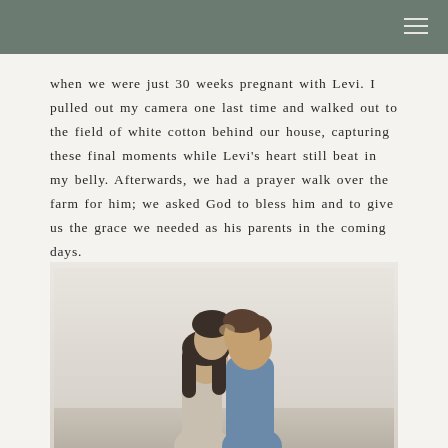when we were just 30 weeks pregnant with Levi. I pulled out my camera one last time and walked out to the field of white cotton behind our house, capturing these final moments while Levi's heart still beat in my belly. Afterwards, we had a prayer walk over the farm for him; we asked God to bless him and to give us the grace we needed as his parents in the coming days.
[Figure (photo): A couple leaning their foreheads together, facing each other intimately, photographed outdoors with a soft overcast background. The man is wearing a blue/denim shirt and the woman has long dark hair.]